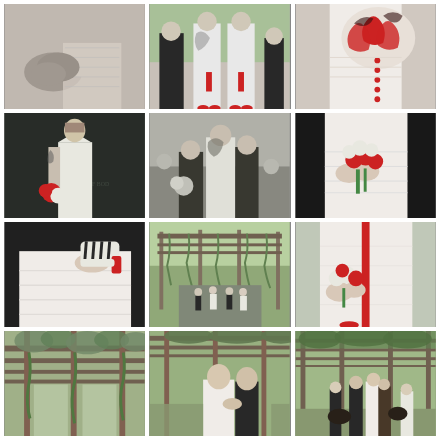[Figure (photo): Black and white close-up of hands and lace wedding dress detail]
[Figure (photo): Bridesmaids and bride viewed from behind, wearing white gowns with red bow sashes and red shoes, outdoors]
[Figure (photo): Close-up of bride's back showing large floral tattoo and red button closures on white dress]
[Figure (photo): Bride with tattoos in white halter dress holding red and white bouquet, standing in front of dark wall]
[Figure (photo): Black and white photo of wedding party group with tattooed bride seen from behind]
[Figure (photo): Close-up of hands holding red and white rose bouquet against white layered dress]
[Figure (photo): Close-up of bride holding zebra-print red-accented shoe against white layered dress]
[Figure (photo): Outdoor wedding ceremony under pergola with vines, guests gathered around couple]
[Figure (photo): Close-up of hands holding bouquet with red ribbon on white layered dress, red shoes visible]
[Figure (photo): Outdoor garden pergola structure covered in vines]
[Figure (photo): Bride and groom close together indoors under green canopy, romantic moment]
[Figure (photo): Bride and groom with wedding party under pergola in garden setting]